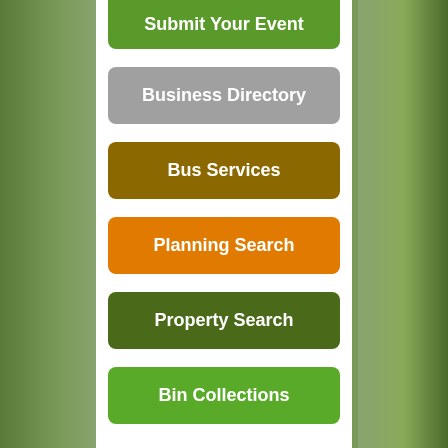Submit Your Event
Business Directory
Bus Services
Planning Search
Property Search
Bin Collections